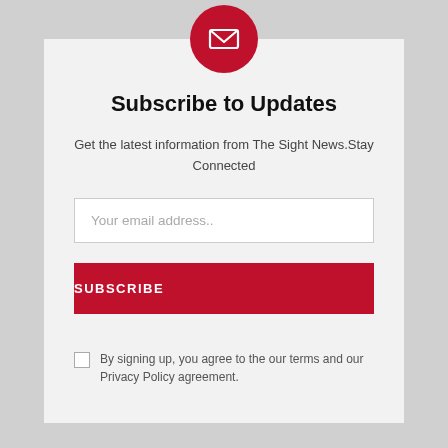[Figure (illustration): Red circular icon with a white envelope/mail symbol in the center]
Subscribe to Updates
Get the latest information from The Sight News.Stay Connected
Your email address..
SUBSCRIBE
By signing up, you agree to the our terms and our Privacy Policy agreement.